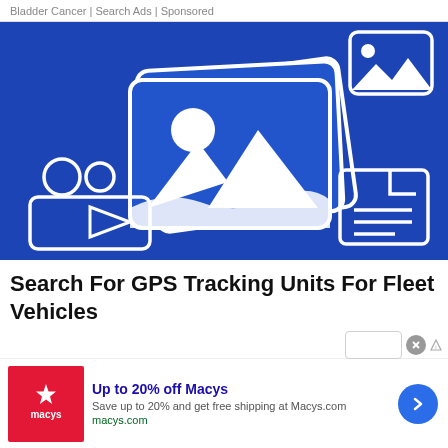Bladder Cancer | Search Ads | Sponsored
[Figure (illustration): Blue background with white outline icons: stacked photo/image placeholders in center, camera icon bottom-left, document icon bottom-right, mountain image icon top-right. Represents a generic image/media placeholder graphic on a blue background.]
Search For GPS Tracking Units For Fleet Vehicles
[Figure (infographic): Bottom advertisement banner for Macys: Red square logo with white Macys star logo on left, bold blue headline 'Up to 20% off Macys', description text 'Save up to 20% and get free shipping at Macys.com', green URL 'macys.com', blue circular arrow button on right. Close button (X) in gray circle top-right corner, small ads triangle badge next to it.]